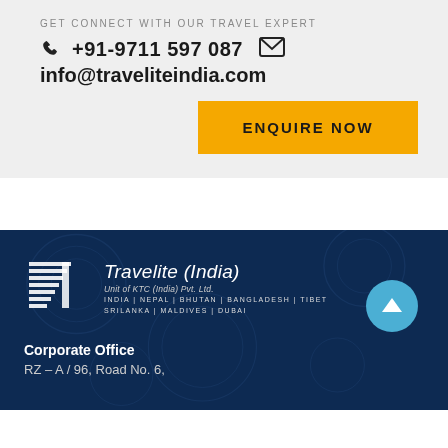GET CONNECT WITH OUR TRAVEL EXPERT
📞 +91-9711 597 087  ✉  info@traveliteindia.com
ENQUIRE NOW
[Figure (logo): Travelite (India) logo with stylized T icon. Text: Travelite (India), Unit of KTC (India) Pvt. Ltd., India | Nepal | Bhutan | Bangladesh | Tibet, Srilanka | Maldives | Dubai]
Corporate Office
RZ – A / 96, Road No. 6,